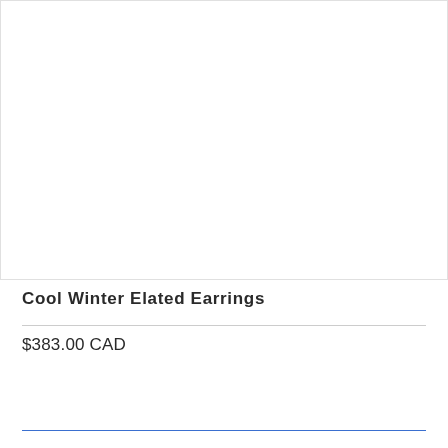[Figure (photo): Product photo area for earrings — white/blank background]
Cool Winter Elated Earrings
$383.00 CAD